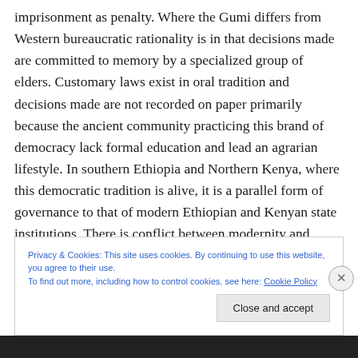imprisonment as penalty. Where the Gumi differs from Western bureaucratic rationality is in that decisions made are committed to memory by a specialized group of elders. Customary laws exist in oral tradition and decisions made are not recorded on paper primarily because the ancient community practicing this brand of democracy lack formal education and lead an agrarian lifestyle. In southern Ethiopia and Northern Kenya, where this democratic tradition is alive, it is a parallel form of governance to that of modern Ethiopian and Kenyan state institutions. There is conflict between modernity and tradition because people
Privacy & Cookies: This site uses cookies. By continuing to use this website, you agree to their use.
To find out more, including how to control cookies, see here: Cookie Policy
Close and accept